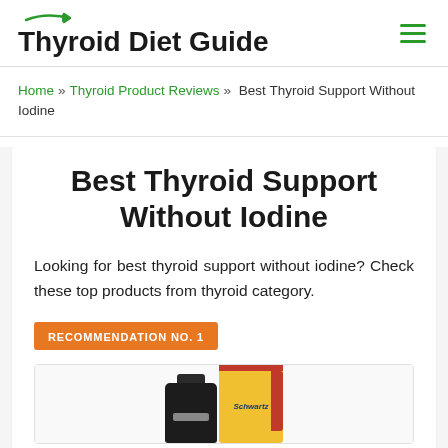Thyroid Diet Guide
Home » Thyroid Product Reviews » Best Thyroid Support Without Iodine
Best Thyroid Support Without Iodine
Looking for best thyroid support without iodine? Check these top products from thyroid category.
RECOMMENDATION NO. 1
[Figure (photo): Product image showing two supplement bottles - one black and one yellow/red Schwartz brand box]